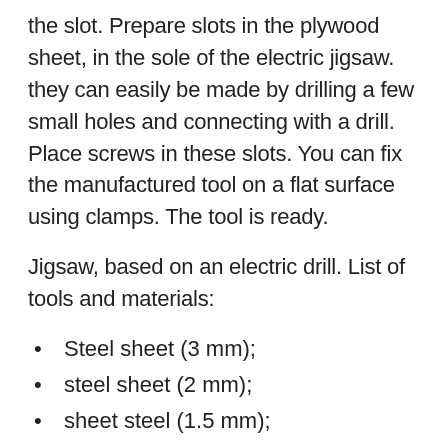the slot. Prepare slots in the plywood sheet, in the sole of the electric jigsaw. they can easily be made by drilling a few small holes and connecting with a drill. Place screws in these slots. You can fix the manufactured tool on a flat surface using clamps. The tool is ready.
Jigsaw, based on an electric drill. List of tools and materials:
Steel sheet (3 mm);
steel sheet (2 mm);
sheet steel (1.5 mm);
steel strip (2 mm);
spring steel strips (0.8 mm);